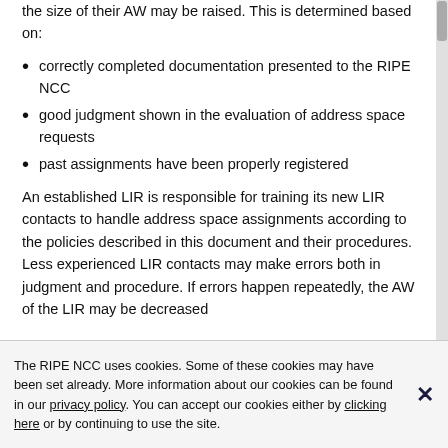the size of their AW may be raised. This is determined based on:
correctly completed documentation presented to the RIPE NCC
good judgment shown in the evaluation of address space requests
past assignments have been properly registered
An established LIR is responsible for training its new LIR contacts to handle address space assignments according to the policies described in this document and their procedures. Less experienced LIR contacts may make errors both in judgment and procedure. If errors happen repeatedly, the AW of the LIR may be decreased
The RIPE NCC uses cookies. Some of these cookies may have been set already. More information about our cookies can be found in our privacy policy. You can accept our cookies either by clicking here or by continuing to use the site.